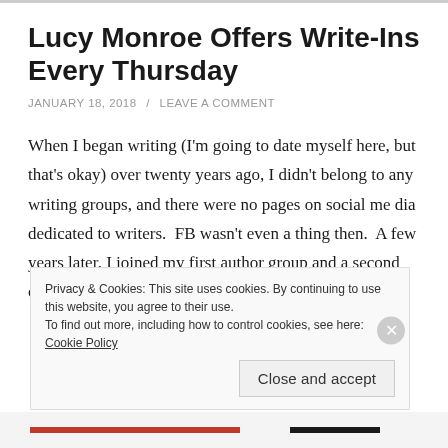Lucy Monroe Offers Write-Ins Every Thursday
JANUARY 18, 2018  /  LEAVE A COMMENT
When I began writing (I'm going to date myself here, but that's okay) over twenty years ago, I didn't belong to any writing groups, and there were no pages on social me dia dedicated to writers.  FB wasn't even a thing then.  A few years later, I joined my first author group and a second one shortly after (my local chapter of Romance
Privacy & Cookies: This site uses cookies. By continuing to use this website, you agree to their use.
To find out more, including how to control cookies, see here: Cookie Policy
Close and accept